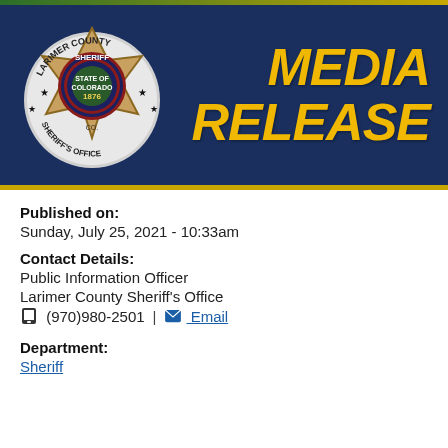[Figure (logo): Larimer County Sheriff's Office badge logo with MEDIA RELEASE text on dark navy blue banner background]
Published on:
Sunday, July 25, 2021 - 10:33am
Contact Details:
Public Information Officer
Larimer County Sheriff's Office
☎ (970)980-2501 | ✉ Email
Department:
Sheriff